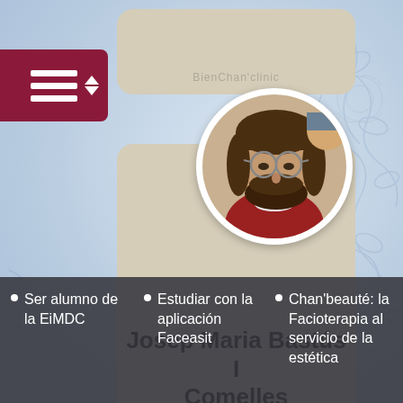[Figure (screenshot): Mobile app interface showing a profile card for Josep Maria Bastús I Comelles with a circular profile photo, navigation menu button, and bottom navigation bar with three items in Spanish]
Josep Maria Bastús I Comelles
Ser alumno de la EiMDC
Estudiar con la aplicación Faceasit
Chan'beauté: la Facioterapia al servicio de la estética